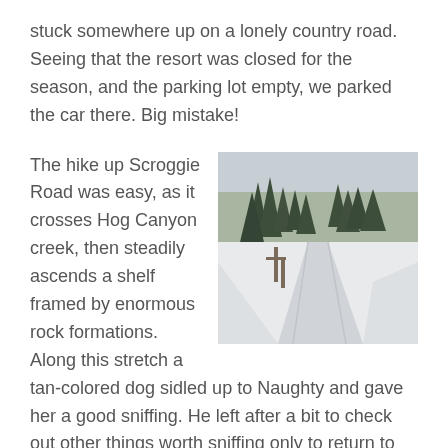stuck somewhere up on a lonely country road. Seeing that the resort was closed for the season, and the parking lot empty, we parked the car there. Big mistake!
The hike up Scroggie Road was easy, as it crosses Hog Canyon creek, then steadily ascends a shelf framed by enormous rock formations. Along this stretch a tan-colored dog sidled up to Naughty and gave her a good sniffing. He left after a bit to check out other things worth sniffing only to return to us frequently as we made our way uphill to the trailhead. At the trailhead we bid him farewell and closed the gate before he could sneak past us. Evidently well-versed in that predicament, he
[Figure (photo): A snowy road lined with evergreen trees under an overcast sky, a wooden fence post visible on the left side of the road.]